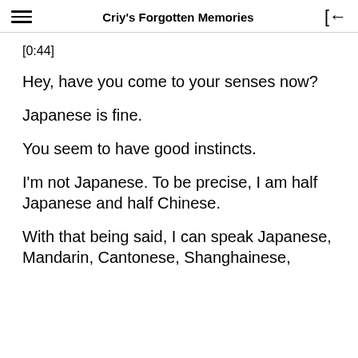Criy's Forgotten Memories
[0:44]
Hey, have you come to your senses now?
Japanese is fine.
You seem to have good instincts.
I'm not Japanese. To be precise, I am half Japanese and half Chinese.
With that being said, I can speak Japanese, Mandarin, Cantonese, Shanghainese,